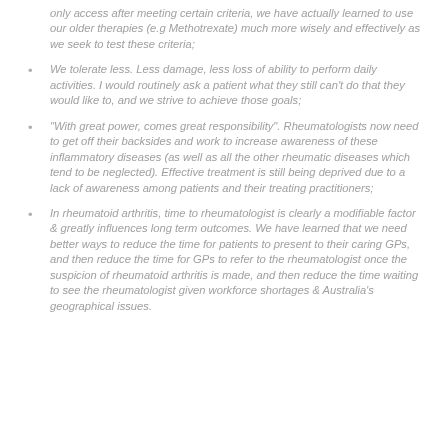only access after meeting certain criteria, we have actually learned to use our older therapies (e.g Methotrexate) much more wisely and effectively as we seek to test these criteria;
We tolerate less. Less damage, less loss of ability to perform daily activities. I would routinely ask a patient what they still can't do that they would like to, and we strive to achieve those goals;
“With great power, comes great responsibility”. Rheumatologists now need to get off their backsides and work to increase awareness of these inflammatory diseases (as well as all the other rheumatic diseases which tend to be neglected). Effective treatment is still being deprived due to a lack of awareness among patients and their treating practitioners;
In rheumatoid arthritis, time to rheumatologist is clearly a modifiable factor & greatly influences long term outcomes. We have learned that we need better ways to reduce the time for patients to present to their caring GPs, and then reduce the time for GPs to refer to the rheumatologist once the suspicion of rheumatoid arthritis is made, and then reduce the time waiting to see the rheumatologist given workforce shortages & Australia’s geographical issues.